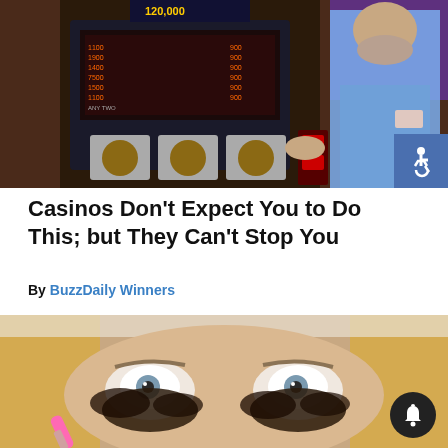[Figure (photo): Man in blue shirt standing next to a slot machine in a casino]
Casinos Don't Expect You to Do This; but They Can't Stop You
By BuzzDaily Winners
[Figure (photo): Close-up of a blonde woman with dramatic dark eye makeup being applied with a pink brush]